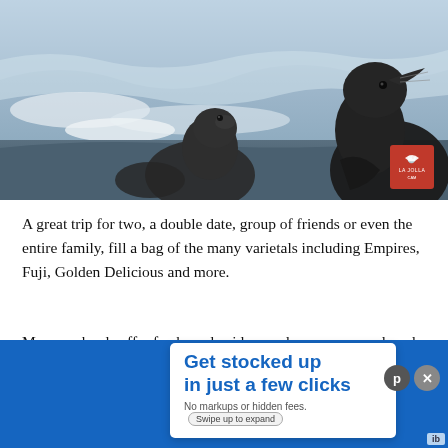[Figure (photo): Two sea lions (seals) on a rocky shore with ocean waves behind them. A red La Jolla badge/logo appears in the lower right of the image.]
A great trip for two, a double date, group of friends or even the entire family, fill a bag of the many varietals including Empires, Fuji, Golden Delicious and more.
Many orchards offer fresh apple cider, apple preserves and apple pie
[Figure (other): Advertisement overlay: 'Get stocked up in just a few clicks' with subtext 'No markups or hidden fees.' and a 'Swipe up to expand' button. Blue background with white ad box.]